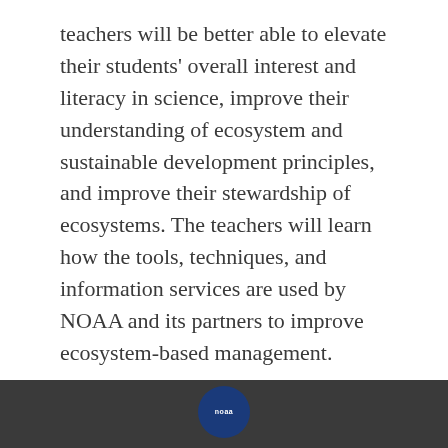teachers will be better able to elevate their students' overall interest and literacy in science, improve their understanding of ecosystem and sustainable development principles, and improve their stewardship of ecosystems. The teachers will learn how the tools, techniques, and information services are used by NOAA and its partners to improve ecosystem-based management.
Show More ▼
[Figure (logo): NOAA circular logo in dark blue at the bottom of the page, partially visible]